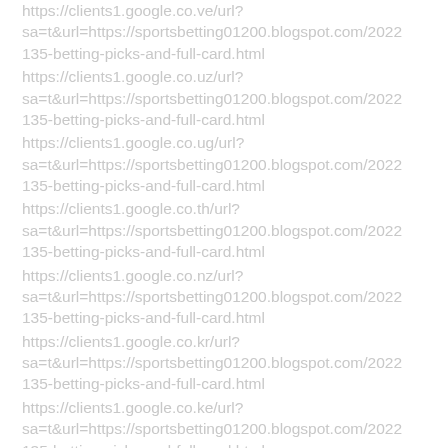https://clients1.google.co.ve/url?sa=t&url=https://sportsbetting01200.blogspot.com/2022...135-betting-picks-and-full-card.html
https://clients1.google.co.uz/url?sa=t&url=https://sportsbetting01200.blogspot.com/2022...135-betting-picks-and-full-card.html
https://clients1.google.co.ug/url?sa=t&url=https://sportsbetting01200.blogspot.com/2022...135-betting-picks-and-full-card.html
https://clients1.google.co.th/url?sa=t&url=https://sportsbetting01200.blogspot.com/2022...135-betting-picks-and-full-card.html
https://clients1.google.co.nz/url?sa=t&url=https://sportsbetting01200.blogspot.com/2022...135-betting-picks-and-full-card.html
https://clients1.google.co.kr/url?sa=t&url=https://sportsbetting01200.blogspot.com/2022...135-betting-picks-and-full-card.html
https://clients1.google.co.ke/url?sa=t&url=https://sportsbetting01200.blogspot.com/2022...135-betting-picks-and-full-card.html